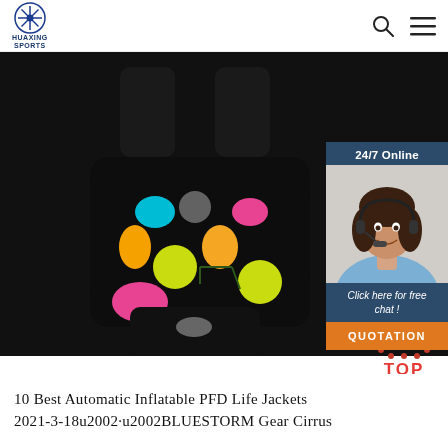HUAXING SPORTS logo with search and menu icons
[Figure (photo): Two colorful fruit-patterned children's swim float vests (PFD life jackets) on a black background, shown front and back views]
[Figure (photo): 24/7 Online chat widget with female customer service agent wearing headset. Text: '24/7 Online', 'Click here for free chat!', 'QUOTATION' button]
[Figure (infographic): Red dotted triangle arrow with 'TOP' label in red text — scroll-to-top button]
10 Best Automatic Inflatable PFD Life Jackets 2021-3-18u2002·u2002BLUESTORM Gear Cirrus